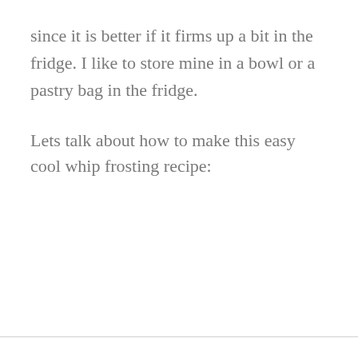since it is better if it firms up a bit in the fridge. I like to store mine in a bowl or a pastry bag in the fridge.
Lets talk about how to make this easy cool whip frosting recipe: